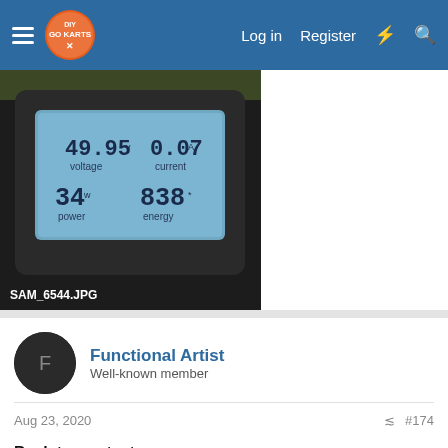DIY Go Karts — Log in  Register
[Figure (photo): A digital meter/display showing readings: 49.95 voltage, 0.07 current, 34 power, 838 energy. Image filename: SAM_6544.JPG]
Functional Artist
Well-known member
Aug 23, 2020  #174
Back to our test
I took everything apart, cleaned 'er up & welded the spindle